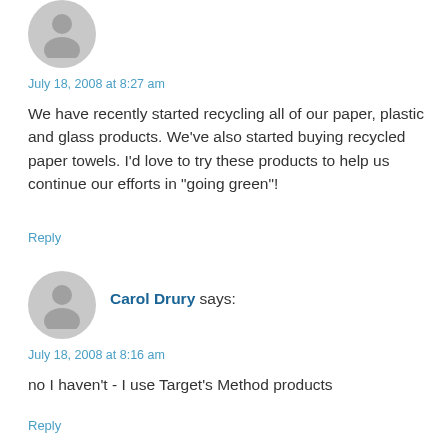[Figure (illustration): Gray circular avatar placeholder with silhouette of a person (head and shoulders)]
July 18, 2008 at 8:27 am
We have recently started recycling all of our paper, plastic and glass products. We've also started buying recycled paper towels. I'd love to try these products to help us continue our efforts in "going green"!
Reply
[Figure (illustration): Gray circular avatar placeholder with silhouette of a person (head and shoulders)]
Carol Drury says:
July 18, 2008 at 8:16 am
no I haven't - I use Target's Method products
Reply